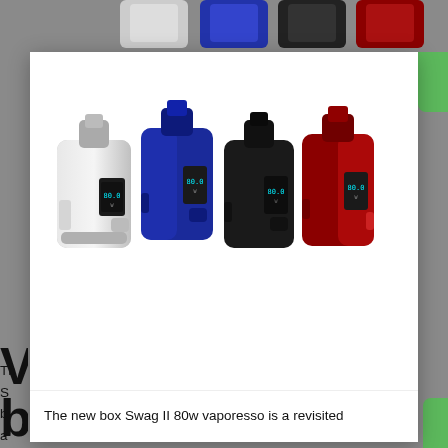[Figure (photo): Top strip showing partial product thumbnails of vape box mods on gray background]
[Figure (photo): Four Vaporesso Swag II 80W box mods displayed side by side in silver, blue, black, and red colors on white background inside a modal card]
The new box Swag II 80w vaporesso is a revisited